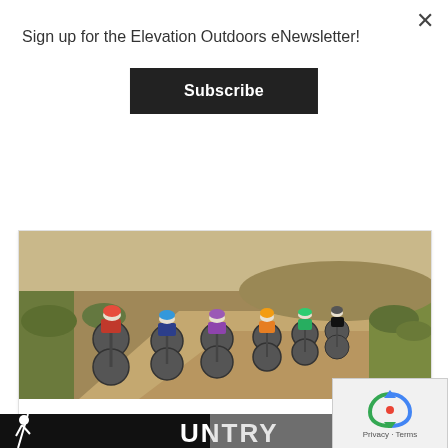Sign up for the Elevation Outdoors eNewsletter!
Subscribe
[Figure (photo): Cyclists racing on a dirt gravel road through shrubby desert terrain, group of 6-7 riders in colorful jerseys on road bikes]
CRUSHER IN THE TUSHAR: RACE RECAP
[Figure (photo): Partial view of a book or magazine cover showing a climber silhouette figure on black background with text 'UNTRY', and a light gray textured surface]
[Figure (other): reCAPTCHA widget with blue/grey arrow logo and 'Privacy - Terms' text]